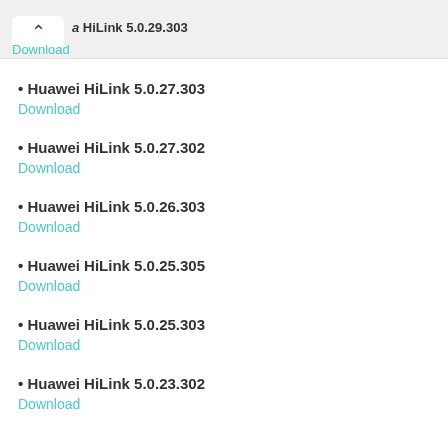a HiLink 5.0.29.303
Download
• Huawei HiLink 5.0.27.303
Download
• Huawei HiLink 5.0.27.302
Download
• Huawei HiLink 5.0.26.303
Download
• Huawei HiLink 5.0.25.305
Download
• Huawei HiLink 5.0.25.303
Download
• Huawei HiLink 5.0.23.302
Download